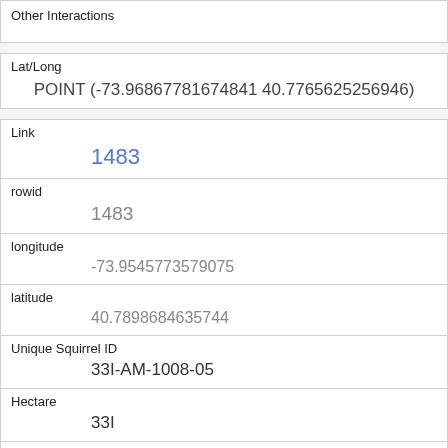Other Interactions
Lat/Long
POINT (-73.96867781674841 40.7765625256946)
Link
1483
rowid
1483
longitude
-73.9545773579075
latitude
40.7898684635744
Unique Squirrel ID
33I-AM-1008-05
Hectare
33I
Shift
AM
Date
10082018